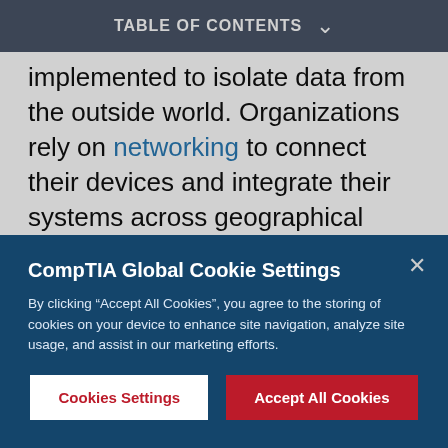TABLE OF CONTENTS
implemented to isolate data from the outside world. Organizations rely on networking to connect their devices and integrate their systems across geographical barriers, while ensuring safe passage for information.
This quick-start guide walks you through the basics of
[Figure (screenshot): CompTIA Global Cookie Settings modal dialog with title, description text, 'Cookies Settings' and 'Accept All Cookies' buttons on a dark blue background]
CompTIA Global Cookie Settings
By clicking “Accept All Cookies”, you agree to the storing of cookies on your device to enhance site navigation, analyze site usage, and assist in our marketing efforts.
Cookies Settings
Accept All Cookies